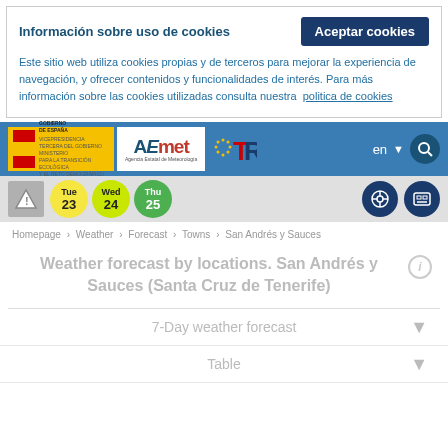Información sobre uso de cookies
Aceptar cookies
Este sitio web utiliza cookies propias y de terceros para mejorar la experiencia de navegación, y ofrecer contenidos y funcionalidades de interés. Para más información sobre las cookies utilizadas consulta nuestra  politica de cookies
[Figure (logo): AEMET Spain meteorological agency navigation bar with government logos and language selector]
Tue 23  Wed 24  Thu 25
Homepage › Weather › Forecast › Towns › San Andrés y Sauces
Weather forecast by locations. San Andrés y Sauces (Santa Cruz de Tenerife)
7-Day weather forecast
Table